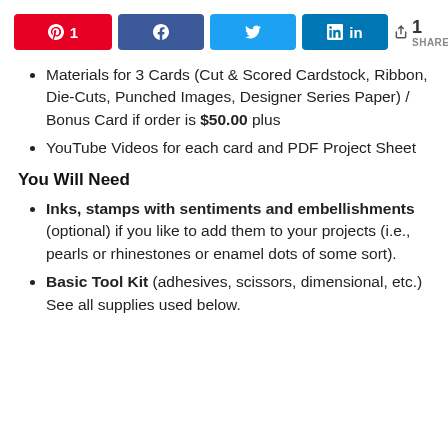[Figure (infographic): Social share bar with Pinterest (1), Facebook, Twitter, LinkedIn buttons and share count of 1 SHARES]
Materials for 3 Cards (Cut & Scored Cardstock, Ribbon, Die-Cuts, Punched Images, Designer Series Paper) / Bonus Card if order is $50.00 plus
YouTube Videos for each card and PDF Project Sheet
You Will Need
Inks, stamps with sentiments and embellishments (optional) if you like to add them to your projects (i.e., pearls or rhinestones or enamel dots of some sort).
Basic Tool Kit (adhesives, scissors, dimensional, etc.)  See all supplies used below.